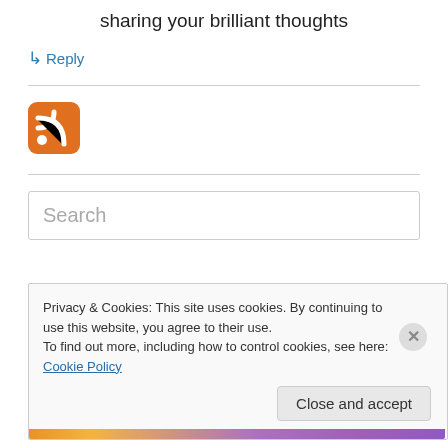sharing your brilliant thoughts
↳ Reply
[Figure (logo): RSS feed orange icon with white wifi-style signal waves]
Search
Privacy & Cookies: This site uses cookies. By continuing to use this website, you agree to their use.
To find out more, including how to control cookies, see here: Cookie Policy
Close and accept